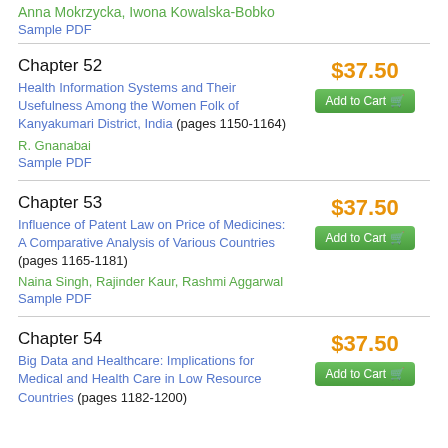Anna Mokrzycka, Iwona Kowalska-Bobko
Sample PDF
Chapter 52
Health Information Systems and Their Usefulness Among the Women Folk of Kanyakumari District, India (pages 1150-1164)
$37.50
Add to Cart
R. Gnanabai
Sample PDF
Chapter 53
Influence of Patent Law on Price of Medicines: A Comparative Analysis of Various Countries (pages 1165-1181)
$37.50
Add to Cart
Naina Singh, Rajinder Kaur, Rashmi Aggarwal
Sample PDF
Chapter 54
Big Data and Healthcare: Implications for Medical and Health Care in Low Resource Countries (pages 1182-1200)
$37.50
Add to Cart